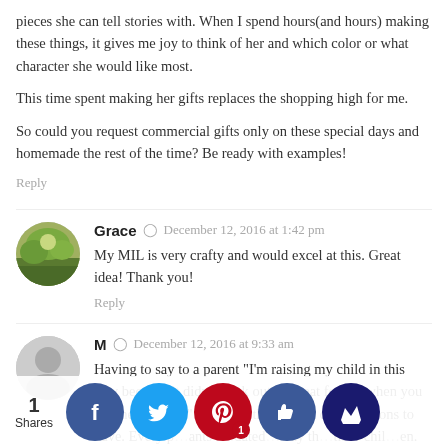pieces she can tell stories with. When I spend hours(and hours) making these things, it gives me joy to think of her and which color or what character she would like most.
This time spent making her gifts replaces the shopping high for me.
So could you request commercial gifts only on these special days and homemade the rest of the time? Be ready with examples!
Reply
Grace  December 12, 2016 at 1:42 pm
My MIL is very crafty and would excel at this. Great idea! Thank you!
Reply
M  December 12, 2016 at 9:33 am
Having to say to a parent "I'm raising my child in this way because it didn't work out so great for me when you did the opposite" is among the hardest conversations to have. Every p…ants t…dated…way th…their chil…en. The in-l…included…this situa…is exactly w…